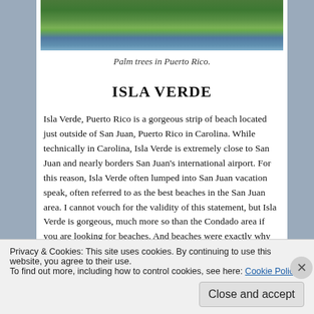[Figure (photo): Photo of palm trees in Puerto Rico with blue sky background]
Palm trees in Puerto Rico.
ISLA VERDE
Isla Verde, Puerto Rico is a gorgeous strip of beach located just outside of San Juan, Puerto Rico in Carolina. While technically in Carolina, Isla Verde is extremely close to San Juan and nearly borders San Juan’s international airport. For this reason, Isla Verde often lumped into San Juan vacation speak, often referred to as the best beaches in the San Juan area. I cannot vouch for the validity of this statement, but Isla Verde is gorgeous, much more so than the Condado area if you are looking for beaches. And beaches were exactly why
Privacy & Cookies: This site uses cookies. By continuing to use this website, you agree to their use.
To find out more, including how to control cookies, see here: Cookie Policy